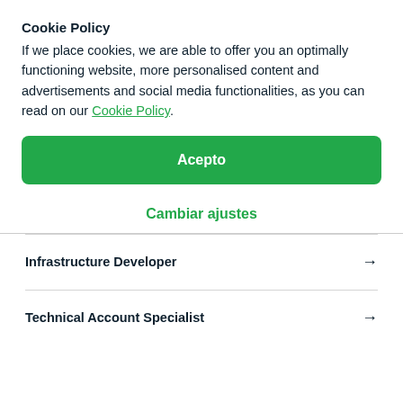Cookie Policy
If we place cookies, we are able to offer you an optimally functioning website, more personalised content and advertisements and social media functionalities, as you can read on our Cookie Policy.
Acepto
Cambiar ajustes
Infrastructure Developer →
Technical Account Specialist →